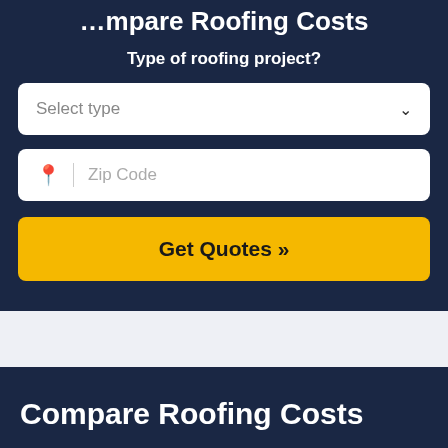Compare Roofing Costs
Type of roofing project?
Select type
Zip Code
Get Quotes »
Compare Roofing Costs